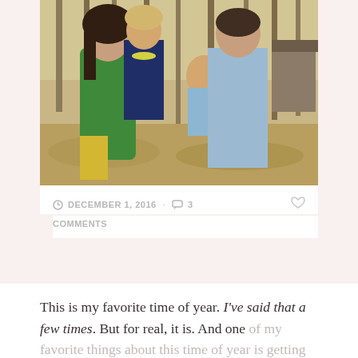[Figure (photo): Family photo outdoors in autumn/fall setting. A woman in a green top holds a toddler girl with a yellow bead necklace and floral outfit. A man in a plaid shirt holds a baby. Trees with fall foliage in the background.]
DECEMBER 1, 2016 · 3 COMMENTS
This is my favorite time of year. I've said that a few times. But for real, it is. And one of my favorite things about this time of year is getting Christmas cards from